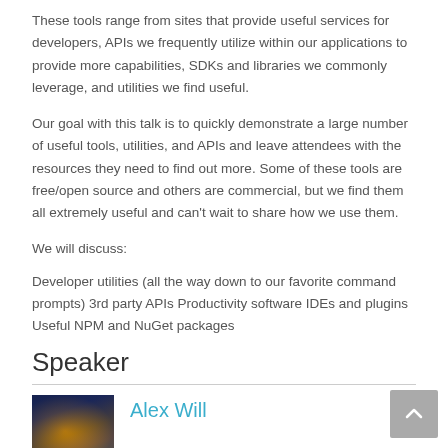These tools range from sites that provide useful services for developers, APIs we frequently utilize within our applications to provide more capabilities, SDKs and libraries we commonly leverage, and utilities we find useful.
Our goal with this talk is to quickly demonstrate a large number of useful tools, utilities, and APIs and leave attendees with the resources they need to find out more. Some of these tools are free/open source and others are commercial, but we find them all extremely useful and can't wait to share how we use them.
We will discuss:
Developer utilities (all the way down to our favorite command prompts) 3rd party APIs Productivity software IDEs and plugins Useful NPM and NuGet packages
Speaker
Alex Will